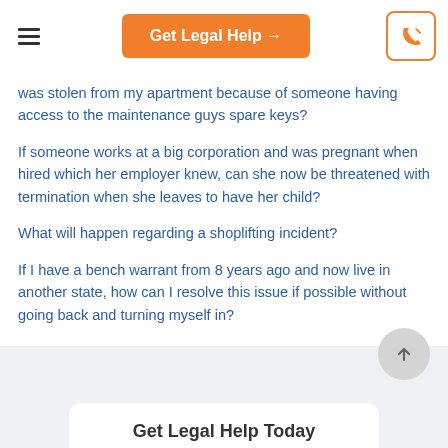Get Legal Help →
was stolen from my apartment because of someone having access to the maintenance guys spare keys?
If someone works at a big corporation and was pregnant when hired which her employer knew, can she now be threatened with termination when she leaves to have her child?
What will happen regarding a shoplifting incident?
If I have a bench warrant from 8 years ago and now live in another state, how can I resolve this issue if possible without going back and turning myself in?
Get Legal Help Today